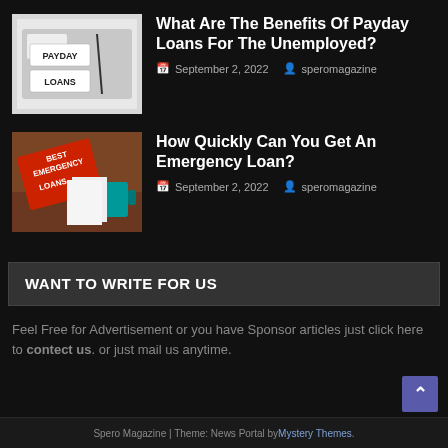[Figure (photo): Payday loans wooden blocks on calculator background]
What Are The Benefits Of Payday Loans For The Unemployed?
September 2, 2022   speromagazine
[Figure (photo): Best Emergency Loans red sign on wooden desk]
How Quickly Can You Get An Emergency Loan?
September 2, 2022   speromagazine
WANT TO WRITE FOR US
Feel Free for Advertisement or you have Sponsor articles just click here to contect us. or just mail us anytime.
Spero Magazine | Theme: News Portal by Mystery Themes.